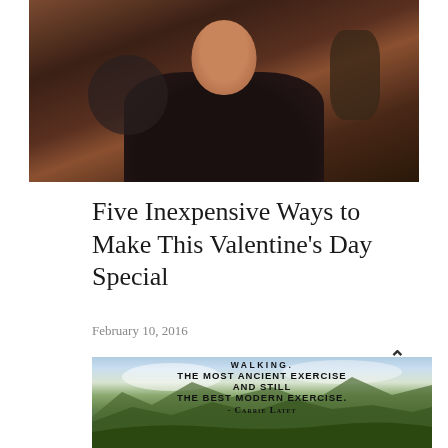[Figure (photo): Photo of a person (man smiling) against a dark background, cropped at top of page]
Five Inexpensive Ways to Make This Valentine's Day Special
February 10, 2016
[Figure (photo): Landscape photo of green hills and mountains with text overlay: WALKING. THE MOST ANCIENT EXERCISE AND STILL THE BEST MODERN EXERCISE. - Carrie Latet]